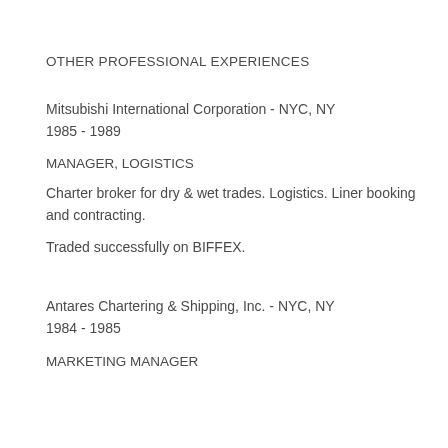OTHER PROFESSIONAL EXPERIENCES
Mitsubishi International Corporation - NYC, NY
1985 - 1989
MANAGER, LOGISTICS
Charter broker for dry & wet trades. Logistics. Liner booking and contracting.
Traded successfully on BIFFEX.
Antares Chartering & Shipping, Inc. - NYC, NY
1984 - 1985
MARKETING MANAGER